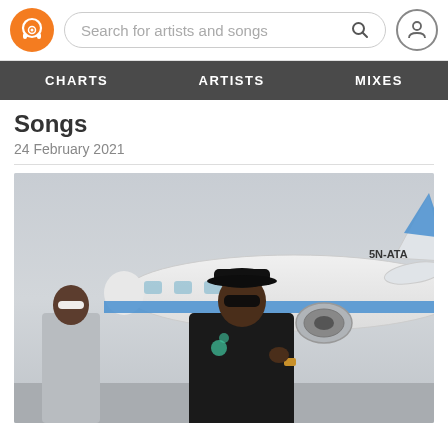[Figure (screenshot): Music streaming website header with orange logo (headphones icon), search bar reading 'Search for artists and songs', and user profile icon]
CHARTS   ARTISTS   MIXES
Songs
24 February 2021
[Figure (photo): A man in a black jacket with teal floral embroidery and a black cap and sunglasses stands in front of a private jet (registration 5N-ATA) on a tarmac. Another man in a grey hoodie and white sunglasses stands to the left in the background.]